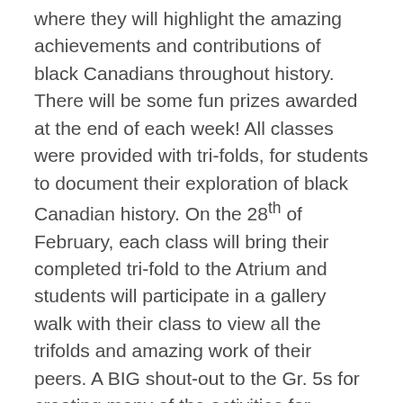where they will highlight the amazing achievements and contributions of black Canadians throughout history. There will be some fun prizes awarded at the end of each week! All classes were provided with tri-folds, for students to document their exploration of black Canadian history. On the 28th of February, each class will bring their completed tri-fold to the Atrium and students will participate in a gallery walk with their class to view all the trifolds and amazing work of their peers. A BIG shout-out to the Gr. 5s for creating many of the activities for Division 1 & 2!
Acts 10:34-35 "God does not show favoritism but accepts from every nation the one who